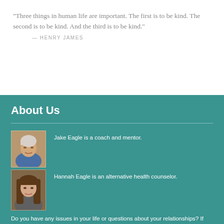"Three things in human life are important. The first is to be kind. The second is to be kind. And the third is to be kind."
— HENRY JAMES
About Us
Jake Eagle is a coach and mentor.
[Figure (photo): Photo of Jake Eagle, an older man with white/grey hair, smiling]
Hannah Eagle is an alternative health counselor.
[Figure (photo): Photo of Hannah Eagle, a woman with straight brown hair]
Do you have any issues in your life or questions about your relationships? If you send them to us, we'll give you a personal and